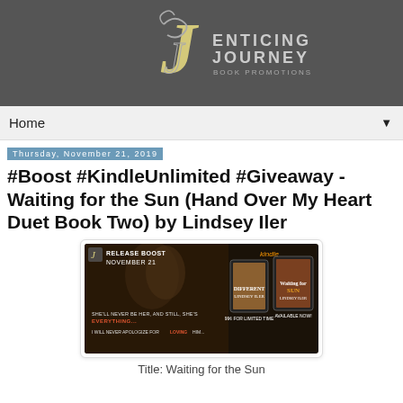[Figure (logo): Enticing Journey Book Promotions logo — stylized J with decorative swash, yellow and white lettering on dark grey banner]
Home ▼
Thursday, November 21, 2019
#Boost #KindleUnlimited #Giveaway - Waiting for the Sun (Hand Over My Heart Duet Book Two) by Lindsey Iler
[Figure (infographic): Release Boost November 21 promotional banner for Waiting for the Sun by Lindsey Iler. Shows two Kindle tablets with book covers. Text: SHE'LL NEVER BE HER. AND STILL, SHE'S EVERYTHING... / I WILL NEVER APOLOGIZE FOR LOVING HIM... / 99¢ FOR LIMITED TIME / AVAILABLE NOW!]
Title: Waiting for the Sun